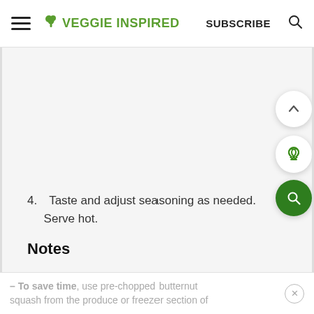VEGGIE INSPIRED | SUBSCRIBE
4. Taste and adjust seasoning as needed. Serve hot.
Notes
– To save time, use pre-chopped butternut squash from the produce or freezer section of